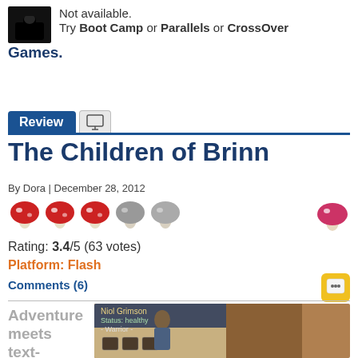[Figure (screenshot): Black silhouette thumbnail image of user avatar]
Not available.
Try Boot Camp or Parallels or CrossOver Games.
Review
The Children of Brinn
By Dora | December 28, 2012
[Figure (illustration): Five mushroom rating icons, three red and two grey, plus one small red mushroom on right side]
Rating: 3.4/5 (63 votes)
Platform: Flash
Comments (6)
[Figure (photo): Author avatar photo showing a person with glasses smiling]
[Figure (screenshot): Game screenshot showing Niol Grimson, Status: healthy, Warrior character in a dungeon scene]
Adventure meets text-